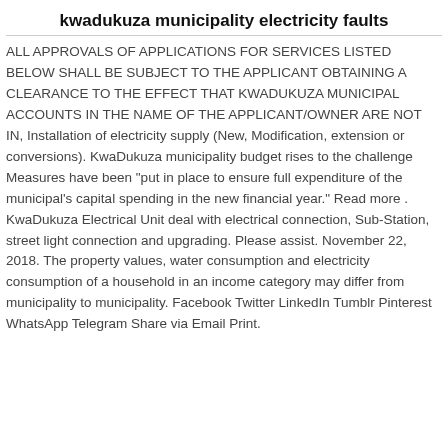kwadukuza municipality electricity faults
ALL APPROVALS OF APPLICATIONS FOR SERVICES LISTED BELOW SHALL BE SUBJECT TO THE APPLICANT OBTAINING A CLEARANCE TO THE EFFECT THAT KWADUKUZA MUNICIPAL ACCOUNTS IN THE NAME OF THE APPLICANT/OWNER ARE NOT IN, Installation of electricity supply (New, Modification, extension or conversions). KwaDukuza municipality budget rises to the challenge Measures have been "put in place to ensure full expenditure of the municipal's capital spending in the new financial year." Read more . KwaDukuza Electrical Unit deal with electrical connection, Sub-Station, street light connection and upgrading. Please assist. November 22, 2018. The property values, water consumption and electricity consumption of a household in an income category may differ from municipality to municipality. Facebook Twitter LinkedIn Tumblr Pinterest WhatsApp Telegram Share via Email Print.